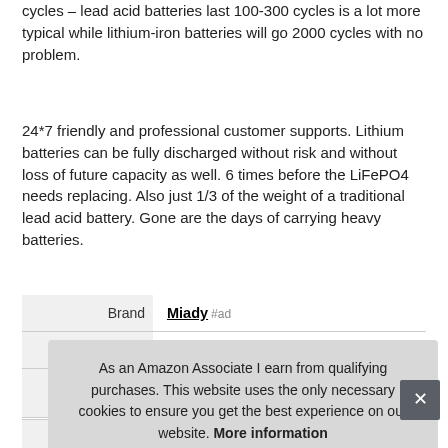cycles – lead acid batteries last 100-300 cycles is a lot more typical while lithium-iron batteries will go 2000 cycles with no problem.
24*7 friendly and professional customer supports. Lithium batteries can be fully discharged without risk and without loss of future capacity as well. 6 times before the LiFePO4 needs replacing. Also just 1/3 of the weight of a traditional lead acid battery. Gone are the days of carrying heavy batteries.
|  |  |
| --- | --- |
| Brand | Miady #ad |
| Manufacturer | Miady #ad |
|  |  |
|  |  |
As an Amazon Associate I earn from qualifying purchases. This website uses the only necessary cookies to ensure you get the best experience on our website. More information